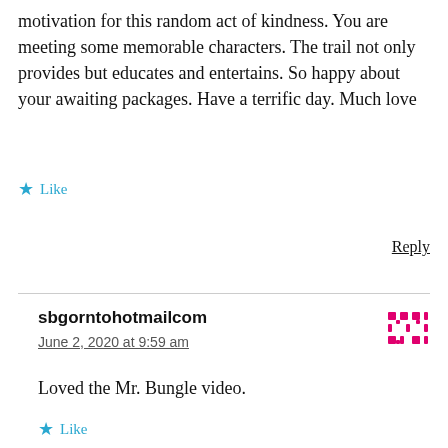motivation for this random act of kindness. You are meeting some memorable characters. The trail not only provides but educates and entertains. So happy about your awaiting packages. Have a terrific day. Much love
Like
Reply
sbgorntohotmailcom
June 2, 2020 at 9:59 am
Loved the Mr. Bungle video.
Like